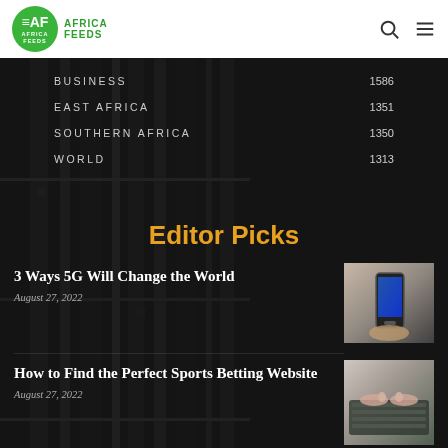[Figure (logo): Africa Feeds logo - green circle with AF letters and Africa Feeds text]
BUSINESS 1586
EAST AFRICA 1351
SOUTHERN AFRICA 1350
WORLD 1313
Editor Picks
3 Ways 5G Will Change the World
August 27, 2022
[Figure (photo): Person holding a smartphone]
How to Find the Perfect Sports Betting Website
August 27, 2022
[Figure (photo): Person typing on a laptop keyboard]